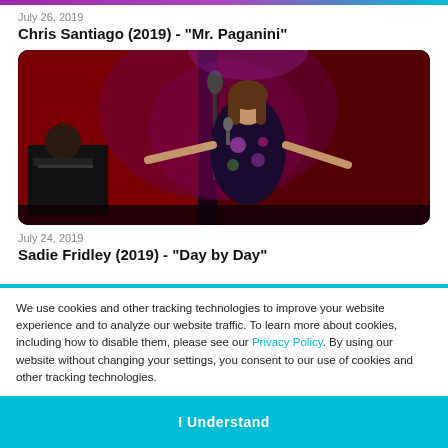[Figure (photo): Colored gradient bar at top (purple to cyan)]
July 26, 2019
Chris Santiago (2019) - "Mr. Paganini"
[Figure (photo): Young woman in floral dress singing on stage with microphone, red curtain background, pianist visible on left]
July 24, 2019
Sadie Fridley (2019) - "Day by Day"
We use cookies and other tracking technologies to improve your website experience and to analyze our website traffic. To learn more about cookies, including how to disable them, please see our Privacy Policy. By using our website without changing your settings, you consent to our use of cookies and other tracking technologies.
I Understand